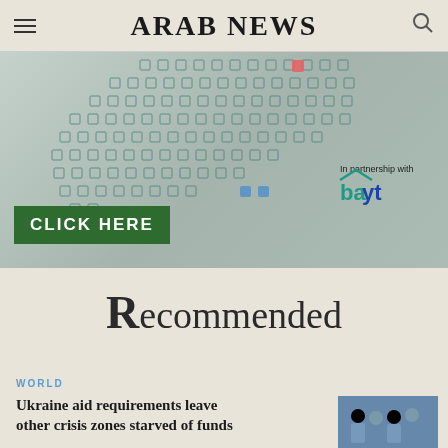ARAB NEWS
[Figure (screenshot): Arab News website banner advertisement for Bayt.com job portal showing scattered job-related icons on a grey-green background with a green 'CLICK HERE' button and 'In partnership with Bayt' logo]
Recommended
WORLD
Ukraine aid requirements leave other crisis zones starved of funds